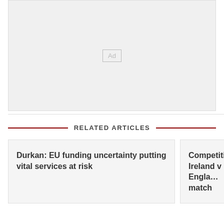[Figure (other): Advertisement placeholder box with 'Ad' label]
RELATED ARTICLES
Durkan: EU funding uncertainty putting vital services at risk
Competition! Ireland v Engla… match